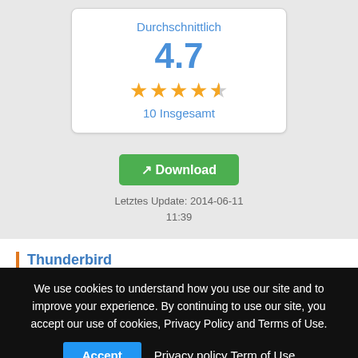Durchschnittlich
4.7
[Figure (other): 4.7 out of 5 star rating display with 4 full stars and 1 half star]
10 Insgesamt
Download
Letztes Update: 2014-06-11
11:39
Thunderbird
Thunderbird is a total redesign of the Mozilla mail component
We use cookies to understand how you use our site and to improve your experience. By continuing to use our site, you accept our use of cookies, Privacy Policy and Terms of Use.
Accept   Privacy policy   Term of Use
downloadable themes which alter the appearance of the client,